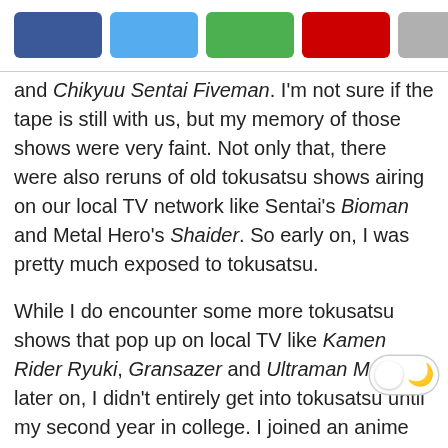[Figure (other): Social share buttons: Facebook (dark blue), Twitter (light blue), Google+ (green), Pinterest (red), More (gray)]
and Chikyuu Sentai Fiveman. I'm not sure if the tape is still with us, but my memory of those shows were very faint. Not only that, there were also reruns of old tokusatsu shows airing on our local TV network like Sentai's Bioman and Metal Hero's Shaider. So early on, I was pretty much exposed to tokusatsu.
While I do encounter some more tokusatsu shows that pop up on local TV like Kamen Rider Ryuki, Gransazer and Ultraman Max later on, I didn't entirely get into tokusatsu until my second year in college. I joined an anime club at that time and the club president plus two of my classmates were watching Super Hero Taisen, I think. It caught my eye, so I tagged along. Then we all started talking about Japanese superheroes, and soon enough I was hooked thanks to them. (And our friendship